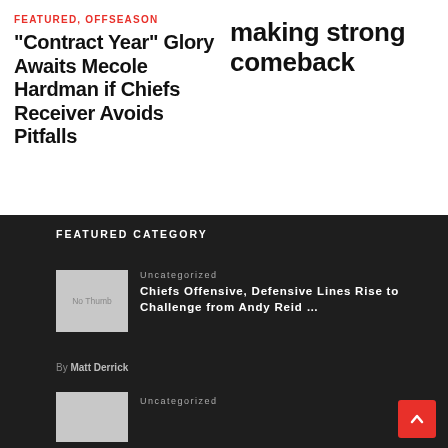FEATURED, OFFSEASON
“Contract Year” Glory Awaits Mecole Hardman if Chiefs Receiver Avoids Pitfalls
making strong comeback
FEATURED CATEGORY
Uncategorized
Chiefs Offensive, Defensive Lines Rise to Challenge from Andy Reid …
By Matt Derrick
Uncategorized